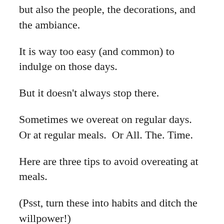but also the people, the decorations, and the ambiance.
It is way too easy (and common) to indulge on those days.
But it doesn’t always stop there.
Sometimes we overeat on regular days.  Or at regular meals.  Or All. The. Time.
Here are three tips to avoid overeating at meals.
(Psst, turn these into habits and ditch the willpower!)